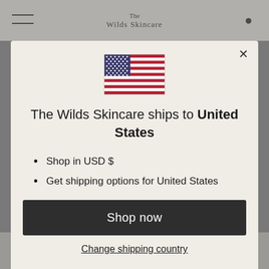The Wilds Skincare — site header
[Figure (illustration): US flag emoji/icon displayed in the modal]
The Wilds Skincare ships to United States
Shop in USD $
Get shipping options for United States
Shop now
Change shipping country
applicability. The User irrevocably consents to the